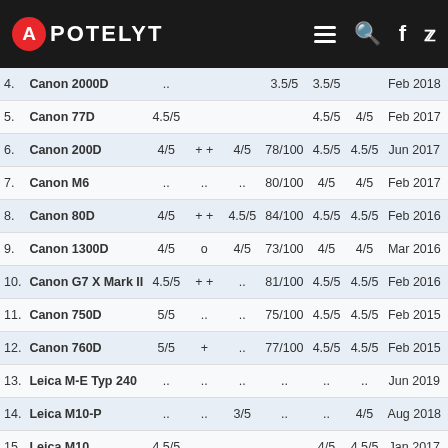APOTELYT
| # | Camera | Col3 | Col4 | Col5 | Score | Col7 | Col8 | Date | Price |
| --- | --- | --- | --- | --- | --- | --- | --- | --- | --- |
| 4. | Canon 2000D | .. |  |  | 3.5/5 | 3.5/5 |  | Feb 2018 | 4 |
| 5. | Canon 77D | 4.5/5 |  |  |  | 4.5/5 | 4/5 | Feb 2017 | 8 |
| 6. | Canon 200D | 4/5 | ++ | 4/5 | 78/100 | 4.5/5 | 4.5/5 | Jun 2017 | 5 |
| 7. | Canon M6 | .. | .. | .. | 80/100 | 4/5 | 4/5 | Feb 2017 | 7 |
| 8. | Canon 80D | 4/5 | ++ | 4.5/5 | 84/100 | 4.5/5 | 4.5/5 | Feb 2016 | 1,1 |
| 9. | Canon 1300D | 4/5 | o | 4/5 | 73/100 | 4/5 | 4/5 | Mar 2016 | 4 |
| 10. | Canon G7 X Mark II | 4.5/5 | ++ | .. | 81/100 | 4.5/5 | 4.5/5 | Feb 2016 | 6 |
| 11. | Canon 750D | 5/5 | .. | .. | 75/100 | 4.5/5 | 4.5/5 | Feb 2015 | 7 |
| 12. | Canon 760D | 5/5 | + | .. | 77/100 | 4.5/5 | 4.5/5 | Feb 2015 | 6 |
| 13. | Leica M-E Typ 240 | .. | .. | .. | .. | .. | .. | Jun 2019 | 3,9 |
| 14. | Leica M10-P | .. | .. | 3/5 | .. | .. | 4/5 | Aug 2018 | 7,9 |
| 15. | Leica M10 | 4.5/5 | .. | .. |  | 4/5 | 4.5/5 | Jan 2017 | 6,5 |